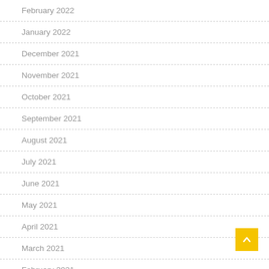February 2022
January 2022
December 2021
November 2021
October 2021
September 2021
August 2021
July 2021
June 2021
May 2021
April 2021
March 2021
February 2021